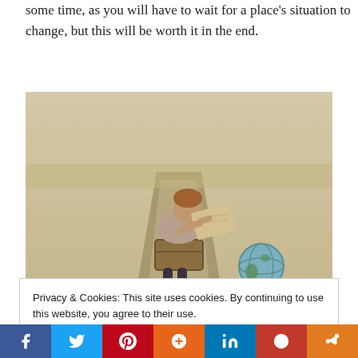some time, as you will have to wait for a place's situation to change, but this will be worth it in the end.
[Figure (photo): A young woman with red hair sitting on a suitcase on a rural road, reading a map, with a globe beside her. Sepia-toned travel themed photo.]
Privacy & Cookies: This site uses cookies. By continuing to use this website, you agree to their use.
To find out more, including how to control cookies, see here: Cookie Policy
Close and accept